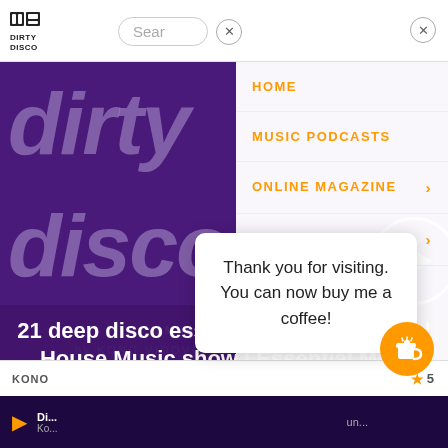[Figure (screenshot): Dirty Disco logo in top left of navigation bar]
Sear
[Figure (screenshot): Dirty Disco purple album art with 'dirty disco' text and play button, by Kono Vidovic]
21 deep disco essentials for april 2020 | House Music show | Essential Mix | Dirty Disco 351
HOME
MUSIC PODCASTS
ONLINE MAGAZINE
CUSTOM MIXES
KONO
★ 5
Thank you for visiting. You can now buy me a coffee!
Di... un... Ko...